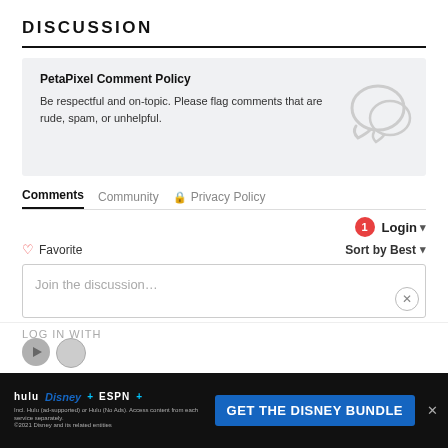DISCUSSION
PetaPixel Comment Policy

Be respectful and on-topic. Please flag comments that are rude, spam, or unhelpful.
Comments   Community   🔒 Privacy Policy
1   Login ▾
♡ Favorite   Sort by Best ▾
Join the discussion...
LOG IN WITH
[Figure (screenshot): Disney Bundle advertisement banner: Hulu, Disney+, ESPN+ logos with 'GET THE DISNEY BUNDLE' call-to-action button on dark background]